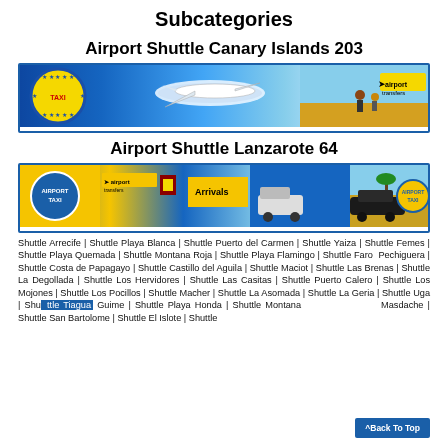Subcategories
Airport Shuttle Canary Islands 203
[Figure (photo): Banner image for Airport Shuttle Canary Islands showing an airplane, map, coastal scenery and airport transfers branding]
Airport Shuttle Lanzarote 64
[Figure (photo): Banner image for Airport Shuttle Lanzarote showing taxis, vans, cars, airport transfers signage with yellow and blue colors]
Shuttle Arrecife | Shuttle Playa Blanca | Shuttle Puerto del Carmen | Shuttle Yaiza | Shuttle Femes | Shuttle Playa Quemada | Shuttle Montana Roja | Shuttle Playa Flamingo | Shuttle Faro Pechiguera | Shuttle Costa de Papagayo | Shuttle Castillo del Aguila | Shuttle Maciot | Shuttle Las Brenas | Shuttle La Degollada | Shuttle Los Hervidores | Shuttle Las Casitas | Shuttle Puerto Calero | Shuttle Los Mojones | Shuttle Los Pocillos | Shuttle Macher | Shuttle La Asomada | Shuttle La Geria | Shuttle Uga | Shuttle Tiagua Guime | Shuttle Playa Honda | Shuttle Montana Masdache | Shuttle San Bartolome | Shuttle El Islote | Shuttle